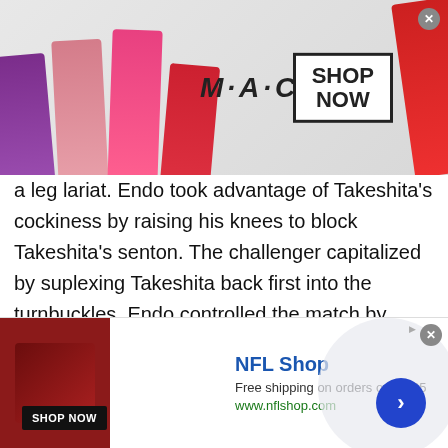[Figure (photo): MAC Cosmetics advertisement banner with lipsticks on left, MAC logo in center, SHOP NOW box on right, and a red lipstick on far right]
a leg lariat. Endo took advantage of Takeshita's cockiness by raising his knees to block Takeshita's senton. The challenger capitalized by suplexing Takeshita back first into the turnbuckles. Endo controlled the match by targeting Takeshita's neck and back. This included some clever submission work as Endo kept reapplying a headscissors.

Takeshita relied on big strikes and DDTs to try and fight back, but Endo used superior grappling to try and keep control. Takeshita used a Headscissors and a tope con Hilo, although Takeshita got the worst of the dive. The
[Figure (photo): NFL Shop advertisement banner with red jersey image, NFL Shop branding, free shipping offer, shop now button, and blue arrow circle button]